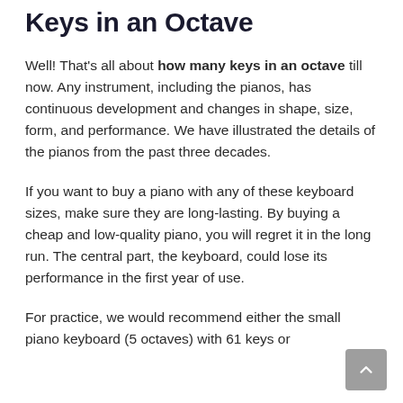Keys in an Octave
Well! That's all about how many keys in an octave till now. Any instrument, including the pianos, has continuous development and changes in shape, size, form, and performance. We have illustrated the details of the pianos from the past three decades.
If you want to buy a piano with any of these keyboard sizes, make sure they are long-lasting. By buying a cheap and low-quality piano, you will regret it in the long run. The central part, the keyboard, could lose its performance in the first year of use.
For practice, we would recommend either the small piano keyboard (5 octaves) with 61 keys or